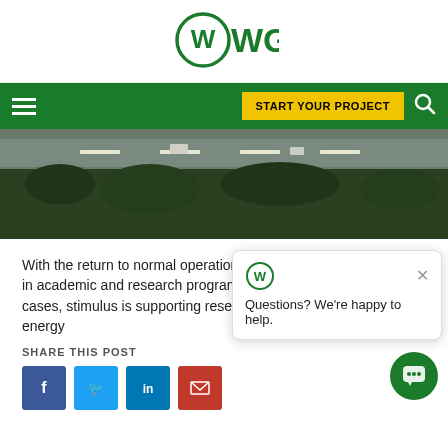WGI
START YOUR PROJECT
[Figure (photo): Aerial view of a highway with trees and greenery alongside the road]
With the return to normal operations comes a refocus on growth in academic and research programs, student prestige. In some cases, stimulus is supporting research facilities to new green energy
SHARE THIS POST
[Figure (other): Chat popup overlay with WGI logo and text: Questions? We're happy to help.]